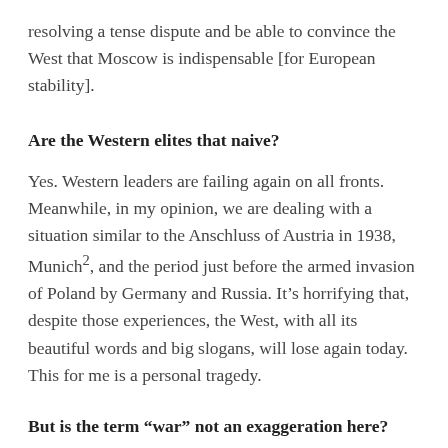resolving a tense dispute and be able to convince the West that Moscow is indispensable [for European stability].
Are the Western elites that naive?
Yes. Western leaders are failing again on all fronts. Meanwhile, in my opinion, we are dealing with a situation similar to the Anschluss of Austria in 1938, Munich², and the period just before the armed invasion of Poland by Germany and Russia. It’s horrifying that, despite those experiences, the West, with all its beautiful words and big slogans, will lose again today. This for me is a personal tragedy.
But is the term “war” not an exaggeration here?